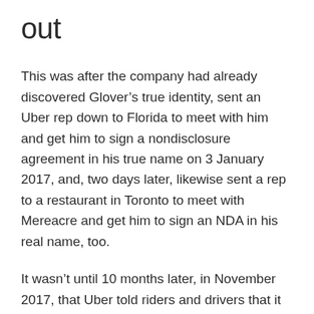out
This was after the company had already discovered Glover’s true identity, sent an Uber rep down to Florida to meet with him and get him to sign a nondisclosure agreement in his true name on 3 January 2017, and, two days later, likewise sent a rep to a restaurant in Toronto to meet with Mereacre and get him to sign an NDA in his real name, too.
It wasn’t until 10 months later, in November 2017, that Uber told riders and drivers that it had lost control of their personal information and that it had fallen into the hands of crooks. The company not only hid the breach from those affected, but also from the Federal Trade Commission (FTC) while the watchdog was